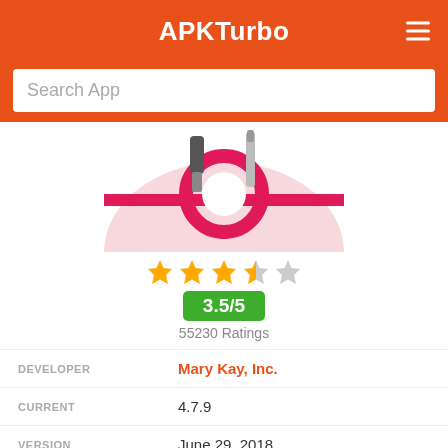APKTurbo
Search App
[Figure (illustration): App icon image showing a pink/magenta circular ring with cosmetic products (mascara, lipstick tubes) on a light pink semi-circular base — Mary Kay app icon]
3.5/5 — 55230 Ratings
| Field | Value |
| --- | --- |
| DEVELOPER | Mary Kay, Inc. |
| CURRENT | 4.7.9 |
| VERSION | June 29, 2018 |
| DATE PUBLISHED | 53.7 MB |
| FILE SIZE | air.com.marykay.enterprise.VMO |